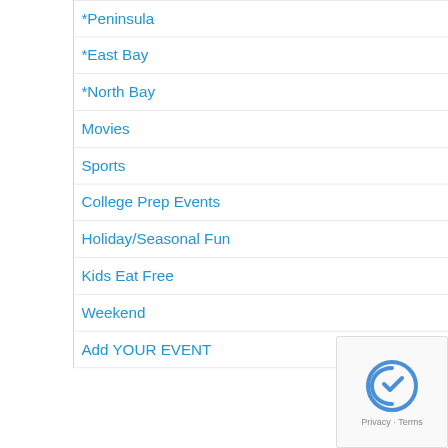| *Peninsula |
| *East Bay |
| *North Bay |
| Movies |
| Sports |
| College Prep Events |
| Holiday/Seasonal Fun |
| Kids Eat Free |
| Weekend |
| Add YOUR EVENT |